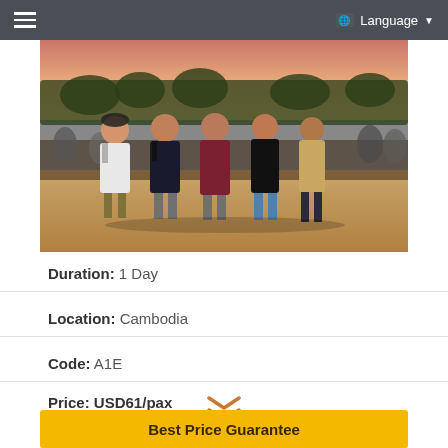Language
[Figure (photo): Group of tourists (four young men and a local guide in a tan shirt) posing together on sandy ground at an archaeological site at sunset, with trees and a crowd visible in background.]
Duration: 1 Day
Location: Cambodia
Code: A1E
Price: USD61/pax
[Figure (illustration): Orange double chevron (down arrow) icon]
Best Price Guarantee